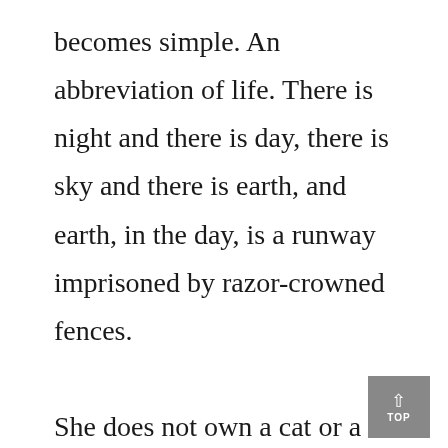becomes simple. An abbreviation of life. There is night and there is day, there is sky and there is earth, and earth, in the day, is a runway imprisoned by razor-crowned fences.

She does not own a cat or a fish or a plant. Nothing heavier than forty kilograms. She stores large possessions in her parents' sewing room, in Daegu. The rest she drags in